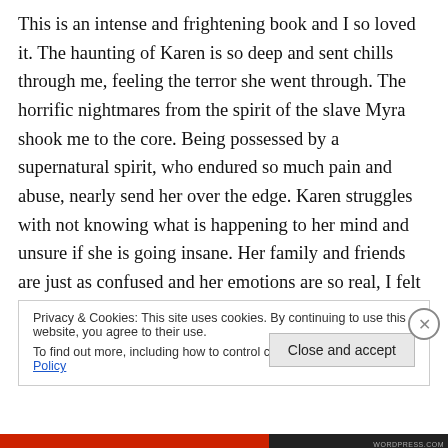This is an intense and frightening book and I so loved it. The haunting of Karen is so deep and sent chills through me, feeling the terror she went through. The horrific nightmares from the spirit of the slave Myra shook me to the core. Being possessed by a supernatural spirit, who endured so much pain and abuse, nearly send her over the edge. Karen struggles with not knowing what is happening to her mind and unsure if she is going insane. Her family and friends are just as confused and her emotions are so real, I felt all of them. I was held captive from the start and could not stop reading and hated to see
Privacy & Cookies: This site uses cookies. By continuing to use this website, you agree to their use.
To find out more, including how to control cookies, see here: Cookie Policy